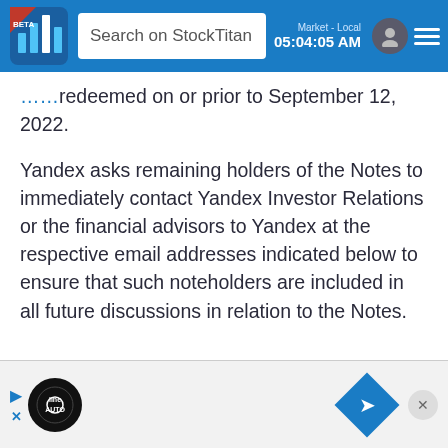Search on StockTitan | Market - Local 05:04:05 AM
redeemed on or prior to September 12, 2022.

Yandex asks remaining holders of the Notes to immediately contact Yandex Investor Relations or the financial advisors to Yandex at the respective email addresses indicated below to ensure that such noteholders are included in all future discussions in relation to the Notes.
[Figure (screenshot): Advertisement footer bar with auto brand logo and navigation icon]